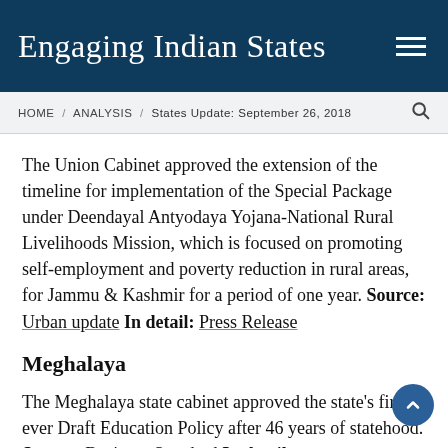Engaging Indian States
HOME / ANALYSIS / States Update: September 26, 2018
The Union Cabinet approved the extension of the timeline for implementation of the Special Package under Deendayal Antyodaya Yojana-National Rural Livelihoods Mission, which is focused on promoting self-employment and poverty reduction in rural areas, for Jammu & Kashmir for a period of one year. Source: Urban update In detail: Press Release
Meghalaya
The Meghalaya state cabinet approved the state's first ever Draft Education Policy after 46 years of statehood. Source: Business Standard In detail: